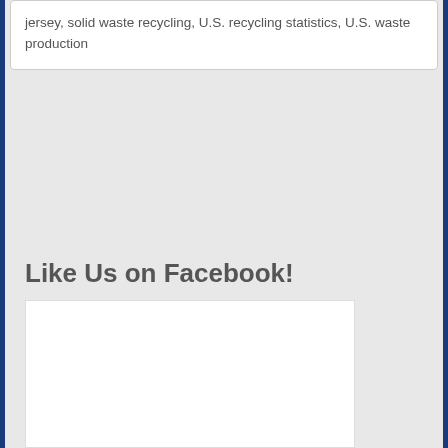jersey, solid waste recycling, U.S. recycling statistics, U.S. waste production
Like Us on Facebook!
[Figure (other): Facebook widget embed area — white rectangle placeholder for a Facebook social plugin]